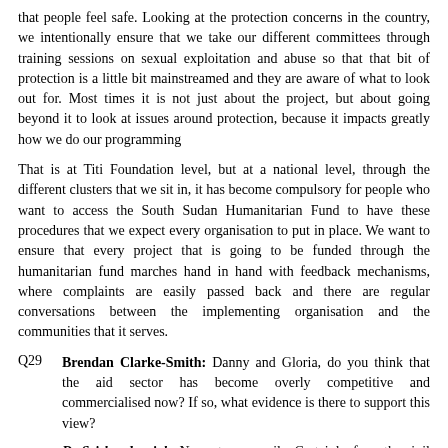that people feel safe. Looking at the protection concerns in the country, we intentionally ensure that we take our different committees through training sessions on sexual exploitation and abuse so that that bit of protection is a little bit mainstreamed and they are aware of what to look out for. Most times it is not just about the project, but about going beyond it to look at issues around protection, because it impacts greatly how we do our programming
That is at Titi Foundation level, but at a national level, through the different clusters that we sit in, it has become compulsory for people who want to access the South Sudan Humanitarian Fund to have these procedures that we expect every organisation to put in place. We want to ensure that every project that is going to be funded through the humanitarian fund marches hand in hand with feedback mechanisms, where complaints are easily passed back and there are regular conversations between the implementing organisation and the communities that it serves.
Q29 Brendan Clarke-Smith: Danny and Gloria, do you think that the aid sector has become overly competitive and commercialised now? If so, what evidence is there to support this view?
Dr Sriskandarajah: No, not necessarily. Certainly, from the civil society point of view, there is great collaboration. We are regularly in consortia with our peers, playing to each of our strengths together. There is competition, but not a bad kind...